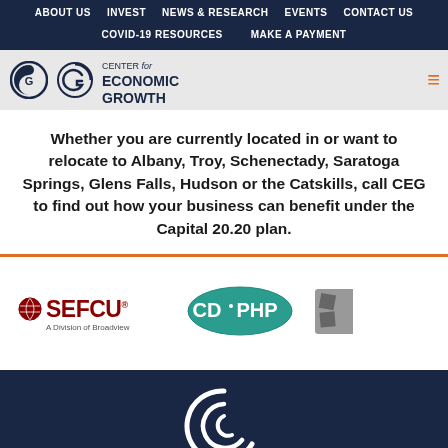ABOUT US  INVEST  NEWS & RESEARCH  EVENTS  CONTACT US  COVID-19 RESOURCES  MAKE A PAYMENT
[Figure (logo): Center for Economic Growth logo with circular G icon, text reads CENTER for ECONOMIC GROWTH]
Whether you are currently located in or want to relocate to Albany, Troy, Schenectady, Saratoga Springs, Glens Falls, Hudson or the Catskills, call CEG to find out how your business can benefit under the Capital 20.20 plan.
[Figure (logo): SEFCU logo - red text with globe icon, subtitle reads A Division of Broadview]
[Figure (logo): CDPHP logo - teal oval with CD PHP text]
[Figure (logo): Partially visible third sponsor logo]
[Figure (logo): Center for Economic Growth circular logo in white on dark navy footer background]